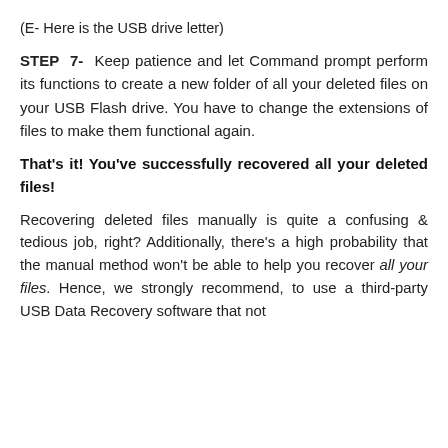(E- Here is the USB drive letter)
STEP 7- Keep patience and let Command prompt perform its functions to create a new folder of all your deleted files on your USB Flash drive. You have to change the extensions of files to make them functional again.
That's it! You've successfully recovered all your deleted files!
Recovering deleted files manually is quite a confusing & tedious job, right? Additionally, there's a high probability that the manual method won't be able to help you recover all your files. Hence, we strongly recommend, to use a third-party USB Data Recovery software that not